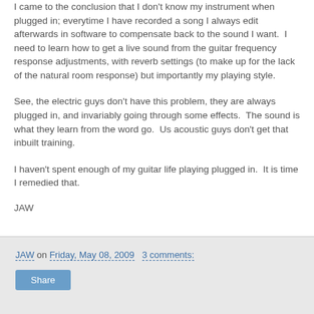I came to the conclusion that I don't know my instrument when plugged in; everytime I have recorded a song I always edit afterwards in software to compensate back to the sound I want.  I need to learn how to get a live sound from the guitar frequency response adjustments, with reverb settings (to make up for the lack of the natural room response) but importantly my playing style.
See, the electric guys don't have this problem, they are always plugged in, and invariably going through some effects.  The sound is what they learn from the word go.  Us acoustic guys don't get that inbuilt training.
I haven't spent enough of my guitar life playing plugged in.  It is time I remedied that.
JAW
JAW on Friday, May 08, 2009   3 comments:   Share